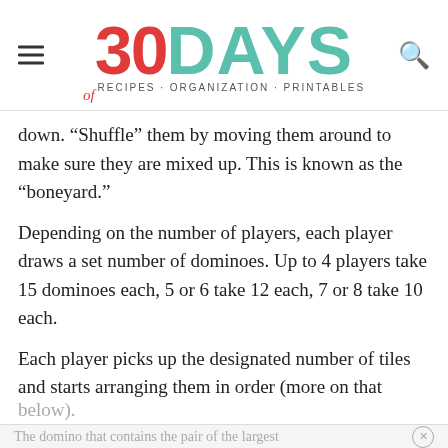30 DAYS of RECIPES · ORGANIZATION · PRINTABLES
down. “Shuffle” them by moving them around to make sure they are mixed up. This is known as the “boneyard.”
Depending on the number of players, each player draws a set number of dominoes. Up to 4 players take 15 dominoes each, 5 or 6 take 12 each, 7 or 8 take 10 each.
Each player picks up the designated number of tiles and starts arranging them in order (more on that below).
The domino that contains the pair of the largest...